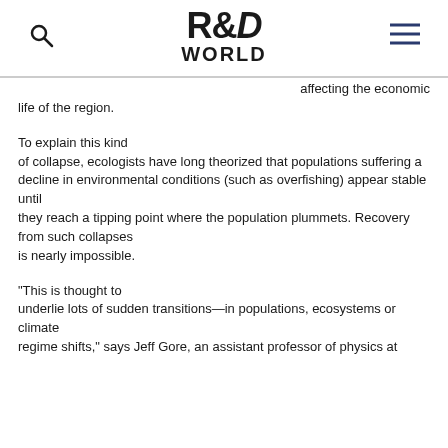R&D WORLD
affecting the economic life of the region.
To explain this kind of collapse, ecologists have long theorized that populations suffering a decline in environmental conditions (such as overfishing) appear stable until they reach a tipping point where the population plummets. Recovery from such collapses is nearly impossible.
“This is thought to underlie lots of sudden transitions—in populations, ecosystems or climate regime shifts,” says Jeff Gore, an assistant professor of physics at